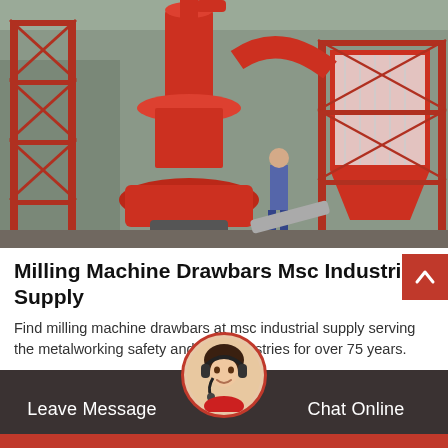[Figure (photo): Industrial red milling machine / grinding mill equipment outdoors with scaffolding, large cyclone separator, and dust collector, person standing nearby]
Milling Machine Drawbars Msc Industrial Supply
Find milling machine drawbars at msc industrial supply serving the metalworking safety and mro industries for over 75 years.
Leave Message   Chat Online